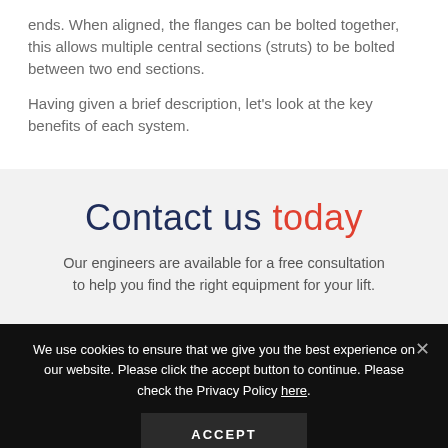ends. When aligned, the flanges can be bolted together, this allows multiple central sections (struts) to be bolted between two end sections.
Having given a brief description, let's look at the key benefits of each system.
Contact us today
Our engineers are available for a free consultation to help you find the right equipment for your lift.
We use cookies to ensure that we give you the best experience on our website. Please click the accept button to continue. Please check the Privacy Policy here.
ACCEPT